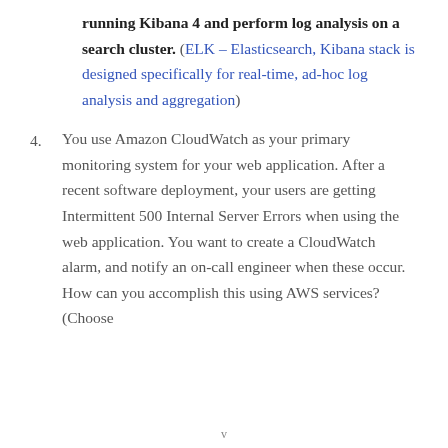running Kibana 4 and perform log analysis on a search cluster. (ELK – Elasticsearch, Kibana stack is designed specifically for real-time, ad-hoc log analysis and aggregation)
4. You use Amazon CloudWatch as your primary monitoring system for your web application. After a recent software deployment, your users are getting Intermittent 500 Internal Server Errors when using the web application. You want to create a CloudWatch alarm, and notify an on-call engineer when these occur. How can you accomplish this using AWS services? (Choose